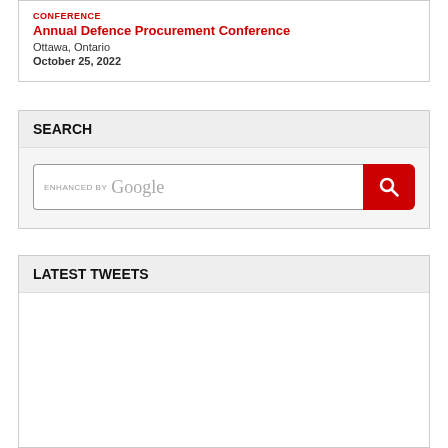CONFERENCE
Annual Defence Procurement Conference
Ottawa, Ontario
October 25, 2022
SEARCH
[Figure (screenshot): Search box with 'ENHANCED BY Google' placeholder text and a red search button with magnifying glass icon]
LATEST TWEETS